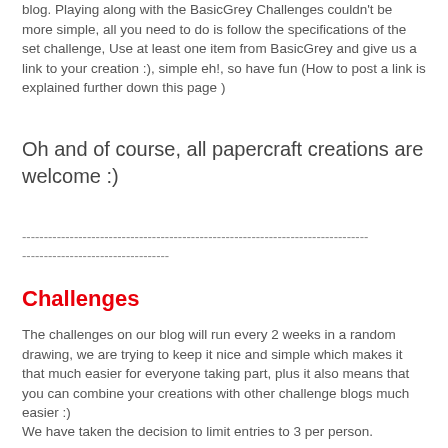blog. Playing along with the BasicGrey Challenges couldn't be more simple, all you need to do is follow the specifications of the set challenge, Use at least one item from BasicGrey and give us a link to your creation :), simple eh!, so have fun (How to post a link is explained further down this page )
Oh and of course, all papercraft creations are welcome :)
--------------------------------------------------------------------------------
----------------------------------
Challenges
The challenges on our blog will run every 2 weeks in a random drawing, we are trying to keep it nice and simple which makes it that much easier for everyone taking part, plus it also means that you can combine your creations with other challenge blogs much easier :)
We have taken the decision to limit entries to 3 per person.